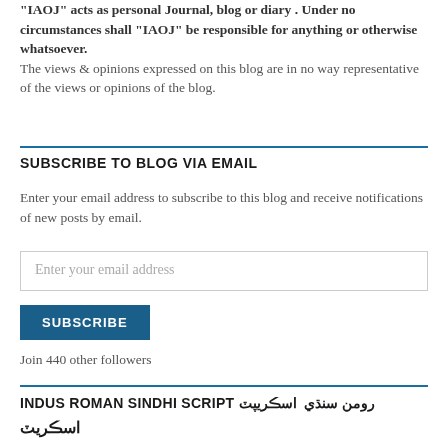"IAOJ" acts as personal Journal, blog or diary . Under no circumstances shall "IAOJ" be responsible for anything or otherwise whatsoever.
The views & opinions expressed on this blog are in no way representative of the views or opinions of the blog.
SUBSCRIBE TO BLOG VIA EMAIL
Enter your email address to subscribe to this blog and receive notifications of new posts by email.
Join 440 other followers
INDUS ROMAN SINDHI SCRIPT رومن سنڌي ​ اسڪريپٽ
اسڪريٽ